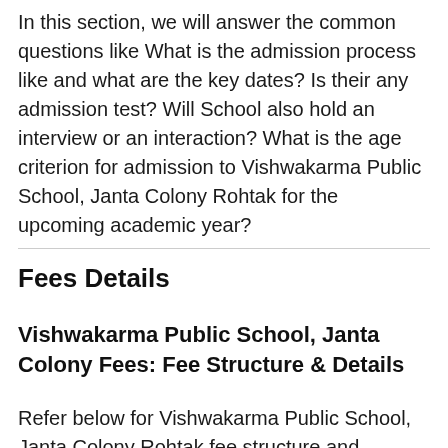In this section, we will answer the common questions like What is the admission process like and what are the key dates? Is their any admission test? Will School also hold an interview or an interaction? What is the age criterion for admission to Vishwakarma Public School, Janta Colony Rohtak for the upcoming academic year?
Fees Details
Vishwakarma Public School, Janta Colony Fees: Fee Structure & Details
Refer below for Vishwakarma Public School, Janta Colony Rohtak fee structure and